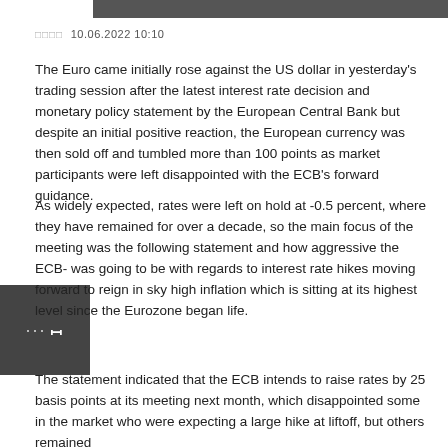□□□□ 10.06.2022 10:10
The Euro came initially rose against the US dollar in yesterday's trading session after the latest interest rate decision and monetary policy statement by the European Central Bank but despite an initial positive reaction, the European currency was then sold off and tumbled more than 100 points as market participants were left disappointed with the ECB's forward guidance.
As widely expected, rates were left on hold at -0.5 percent, where they have remained for over a decade, so the main focus of the meeting was the following statement and how aggressive the ECB- was going to be with regards to interest rate hikes moving forward to reign in sky high inflation which is sitting at its highest level since the Eurozone began life.
The statement indicated that the ECB intends to raise rates by 25 basis points at its meeting next month, which disappointed some in the market who were expecting a large hike at liftoff, but others remained